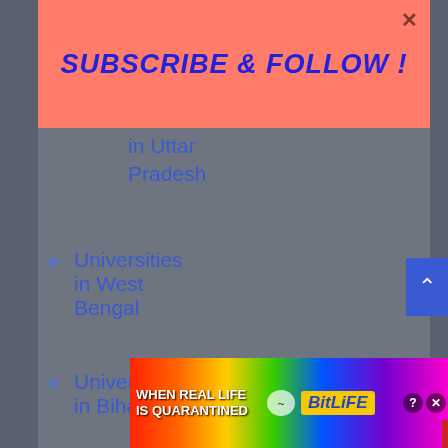[Figure (screenshot): Subscribe and Follow banner overlay with salmon/coral background and blue italic bold text reading SUBSCRIBE & FOLLOW !, with a close X button in top-right corner]
in Uttar Pradesh
+ Universities in West Bengal
+ Universities in Bihar
+ Universities in Chandigarh
+ Universities in
[Figure (screenshot): BitLife advertisement banner with rainbow gradient background showing WHEN REAL LIFE IS QUARANTINED text and BitLife logo with game character icons, help and close buttons in top right]
[Figure (screenshot): Red CLOSE button overlay]